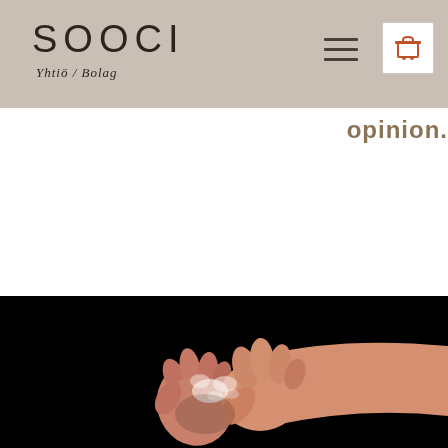SOOCI Yhtiö / Bolag
opinion.
[Figure (photo): Two hands clasped together, one hand holding the other in a handshake-like grip, photographed against a black background. The hands appear to be washing or rubbing together with soap foam visible.]